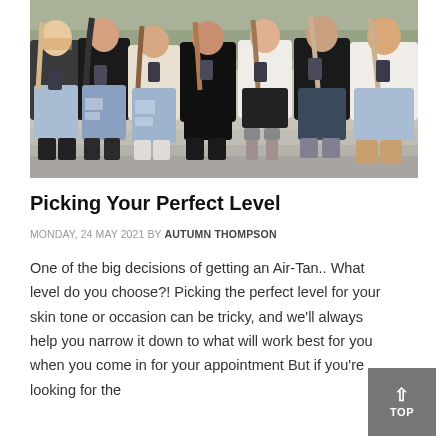[Figure (photo): A row of young women sitting on a concrete ledge outdoors, all looking down at their smartphones. They are wearing casual clothing including jeans, black tops, and various footwear.]
Picking Your Perfect Level
MONDAY, 24 MAY 2021 BY AUTUMN THOMPSON
One of the big decisions of getting an Air-Tan.. What level do you choose?! Picking the perfect level for your skin tone or occasion can be tricky, and we'll always help you narrow it down to what will work best for you when you come in for your appointment But if you're looking for the